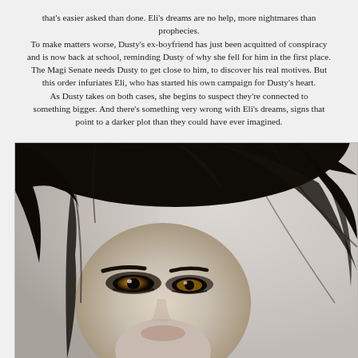that's easier asked than done. Eli's dreams are no help, more nightmares than prophecies. To make matters worse, Dusty's ex-boyfriend has just been acquitted of conspiracy and is now back at school, reminding Dusty of why she fell for him in the first place. The Magi Senate needs Dusty to get close to him, to discover his real motives. But this order infuriates Eli, who has started his own campaign for Dusty's heart. As Dusty takes on both cases, she begins to suspect they're connected to something bigger. And there's something very wrong with Eli's dreams, signs that point to a darker plot than they could have ever imagined.
[Figure (photo): Black and white close-up portrait of a young woman with dark flowing hair and striking amber/golden eyes with dark eye makeup, looking slightly downward]